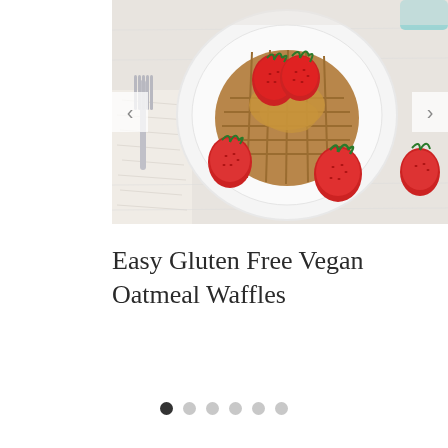[Figure (photo): Overhead view of oatmeal waffles on a white plate topped with fresh strawberries and what appears to be peanut butter sauce, with additional strawberries on the side, on a white wooden surface with a fork and cloth napkin visible]
Easy Gluten Free Vegan Oatmeal Waffles